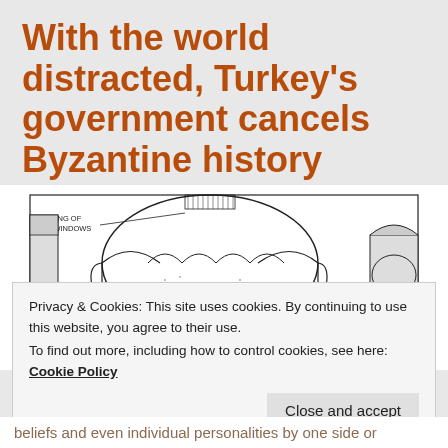With the world distracted, Turkey's government cancels Byzantine history
[Figure (engineering-diagram): Architectural cross-section diagram of Hagia Sophia showing the interior structure including the main dome, half-domes, arches, windows, and exterior buttresses. Label reads 'RING OF 40 WINDOWS'.]
Privacy & Cookies: This site uses cookies. By continuing to use this website, you agree to their use.
To find out more, including how to control cookies, see here: Cookie Policy
beliefs and even individual personalities by one side or